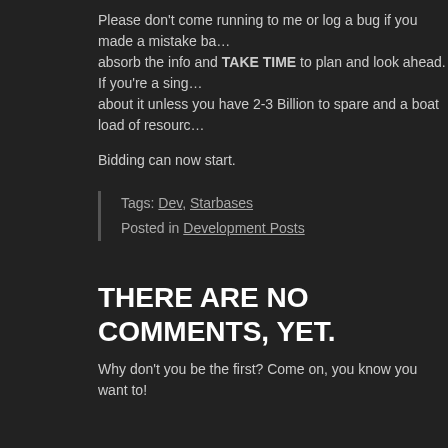Please don't come running to me or log a bug if you made a mistake ba… absorb the info and TAKE TIME to plan and look ahead. If you're a sing… about it unless you have 2-3 Billion to spare and a boat load of resourc…
Bidding can now start.
Tags: Dev, Starbases
Posted in Development Posts
THERE ARE NO COMMENTS, YET.
Why don't you be the first? Come on, you know you want to!
LEAVE A COMMENT
NAME